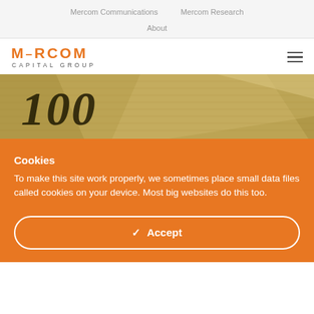Mercom Communications   Mercom Research   About
[Figure (logo): Mercom Capital Group logo with hamburger menu icon]
[Figure (photo): Close-up photo of a US $100 dollar bill]
Cookies
To make this site work properly, we sometimes place small data files called cookies on your device. Most big websites do this too.
Accept